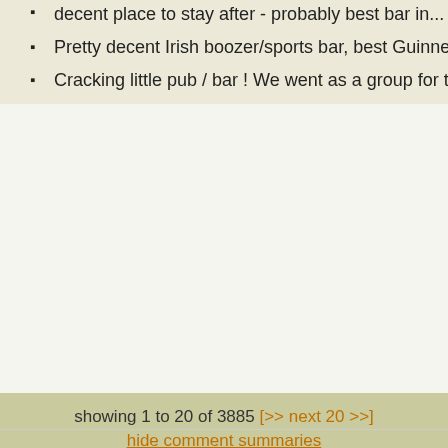decent place to stay after - probably best bar in...
Pretty decent Irish boozer/sports bar, best Guinness in Palace. Not bad at...
Cracking little pub / bar ! We went as a group for the charity shield and ended up...
showing 1 to 20 of 3885 [>> next 20 >>]
hide comment summaries